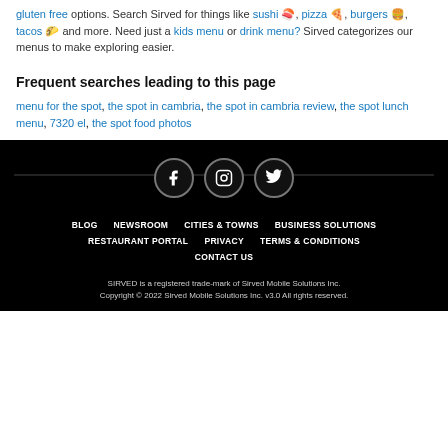gluten free options. Search Sirved for things like sushi 🍣, pizza 🍕, burgers 🍔, tacos 🌮 and more. Need just a kids menu or drink menu? Sirved categorizes our menus to make exploring easier.
Frequent searches leading to this page
menu for the spot, the spot in cambria, the spot in cambria review, the spot lunch menu, 7320 el, the spot food photos
Social icons: Facebook, Instagram, Twitter | BLOG | NEWSROOM | CITIES & TOWNS | BUSINESS SOLUTIONS | RESTAURANT PORTAL | PRIVACY | TERMS & CONDITIONS | CONTACT US | SIRVED is a registered trade-mark of Sirved Mobile Solutions Inc. | Copyright © 2022 Sirved Mobile Solutions Inc. v3.0 All rights reserved.